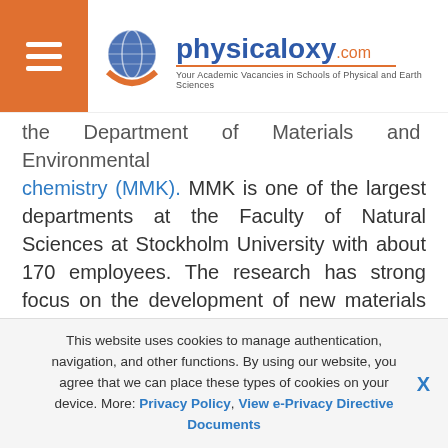physicaloxy.com — Your Academic Vacancies in Schools of Physical and Earth Sciences
the Department of Materials and Environmental chemistry (MMK). MMK is one of the largest departments at the Faculty of Natural Sciences at Stockholm University with about 170 employees. The research has strong focus on the development of new materials employing green synthesis and sustainable processing routes to address grand challenges in energy, environment and health. MMK has also strong research in developing advanced methodologies for chemical analysis and structural characterization. MMK is internationally
This website uses cookies to manage authentication, navigation, and other functions. By using our website, you agree that we can place these types of cookies on your device. More: Privacy Policy, View e-Privacy Directive Documents